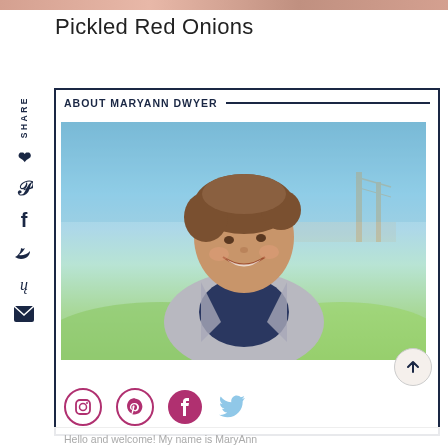[Figure (photo): Cropped top portion of a photo, likely food related to Pickled Red Onions]
Pickled Red Onions
[Figure (infographic): Vertical SHARE label with social media icons (Pinterest, Facebook, Twitter, Yummly, Email) on left sidebar]
[Figure (photo): About MaryAnn Dwyer section box with header text, profile photo of a smiling woman with short brown hair wearing a grey cardigan, outdoor background with water and bridge, social media icon links (Instagram, Pinterest, Facebook, Twitter), and back-to-top button]
Hello and welcome! My name is MaryAnn